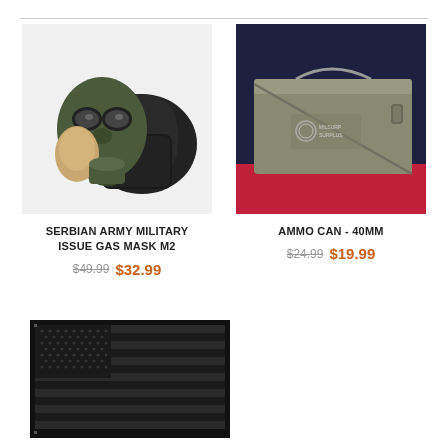[Figure (photo): Serbian Army Military Issue Gas Mask M2 with filter canister, carrying bag, and drinking tube attachment, on white background]
SERBIAN ARMY MILITARY ISSUE GAS MASK M2
$49.99  $32.99
[Figure (photo): Military surplus ammo can 40mm, olive drab metal box with latch, on red surface with dark blue background]
AMMO CAN - 40MM
$24.99  $19.99
[Figure (photo): Black American flag with dark gray stripes and stars on black background]